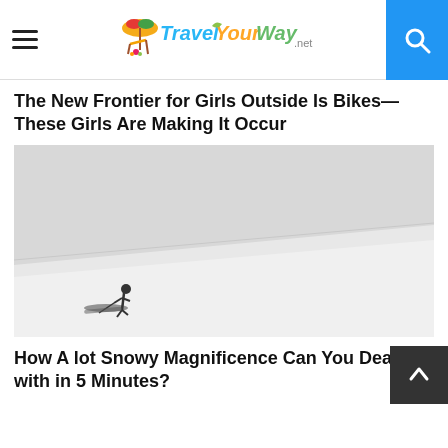Travel Your Way .net
The New Frontier for Girls Outside Is Bikes—These Girls Are Making It Occur
[Figure (photo): Minimalist snowy landscape with a lone skier/figure in the lower-left against vast white snow and grey sky]
How A lot Snowy Magnificence Can You Deal with in 5 Minutes?